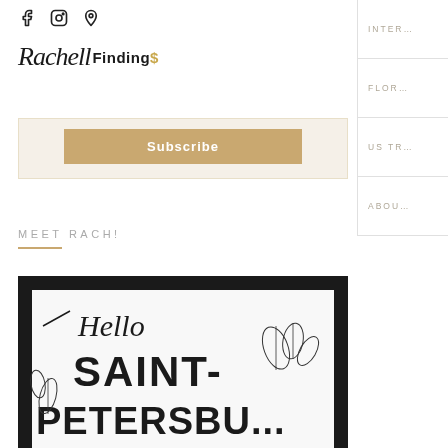Social icons: Facebook, Instagram, Pinterest
Navigation: INTERIOR, FLORAL, US TRAVEL, ABOUT
Rachell Findings
Subscribe
MEET RACH!
[Figure (photo): Framed sign reading 'Hello Saint Petersburg' with decorative hand-lettered typography and botanical illustrations, black frame on white background]